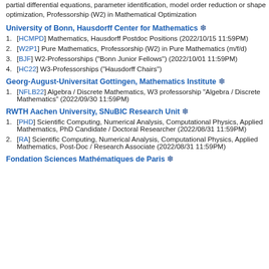partial differential equations, parameter identification, model order reduction or shape optimization, Professorship (W2) in Mathematical Optimization
University of Bonn, Hausdorff Center for Mathematics ❄
[HCMPD] Mathematics, Hausdorff Postdoc Positions (2022/10/15 11:59PM)
[W2P1] Pure Mathematics, Professorship (W2) in Pure Mathematics (m/f/d)
[BJF] W2-Professorships ("Bonn Junior Fellows") (2022/10/01 11:59PM)
[HC22] W3-Professorships ("Hausdorff Chairs")
Georg-August-Universitat Gottingen, Mathematics Institute ❄
[NFLB22] Algebra / Discrete Mathematics, W3 professorship "Algebra / Discrete Mathematics" (2022/09/30 11:59PM)
RWTH Aachen University, SNuBIC Research Unit ❄
[PHD] Scientific Computing, Numerical Analysis, Computational Physics, Applied Mathematics, PhD Candidate / Doctoral Researcher (2022/08/31 11:59PM)
[RA] Scientific Computing, Numerical Analysis, Computational Physics, Applied Mathematics, Post-Doc / Research Associate (2022/08/31 11:59PM)
Fondation Sciences Mathématiques de Paris ❄